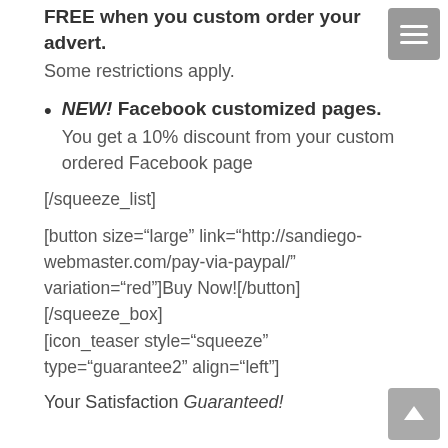FREE when you custom order your advert.
Some restrictions apply.
NEW! Facebook customized pages. You get a 10% discount from your custom ordered Facebook page
[/squeeze_list]
[button size="large" link="http://sandiego-webmaster.com/pay-via-paypal/" variation="red"]Buy Now![/button]
[/squeeze_box]
[icon_teaser style="squeeze" type="guarantee2" align="left"]
Your Satisfaction Guaranteed!